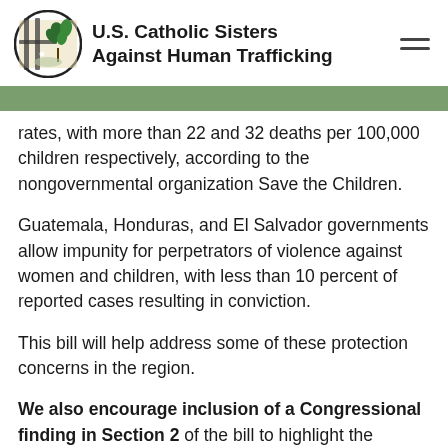U.S. Catholic Sisters Against Human Trafficking
rates, with more than 22 and 32 deaths per 100,000 children respectively, according to the nongovernmental organization Save the Children.
Guatemala, Honduras, and El Salvador governments allow impunity for perpetrators of violence against women and children, with less than 10 percent of reported cases resulting in conviction.
This bill will help address some of these protection concerns in the region.
We also encourage inclusion of a Congressional finding in Section 2 of the bill to highlight the